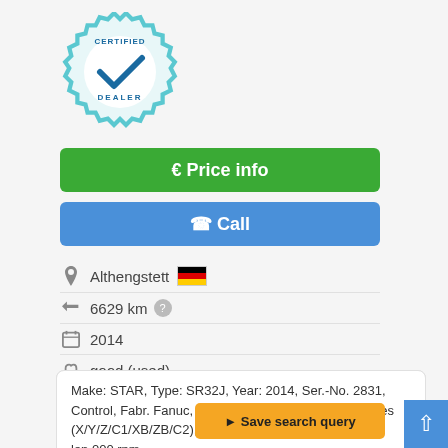[Figure (logo): Certified Dealer badge with gear icon and checkmark]
€ Price info
✆ Call
Althengstett 🇩🇪
6629 km ?
2014
good (used)
Make: STAR, Type: SR32J, Year: 2014, Ser.-No. 2831, Control, Fabr. Fanuc, Type Series 32i-MODEL B, 7 axes (X/Y/Z/C1/XB/ZB/C2), Bar capacity 32 mm, Turning len... .000 rpm, ...
Save search query